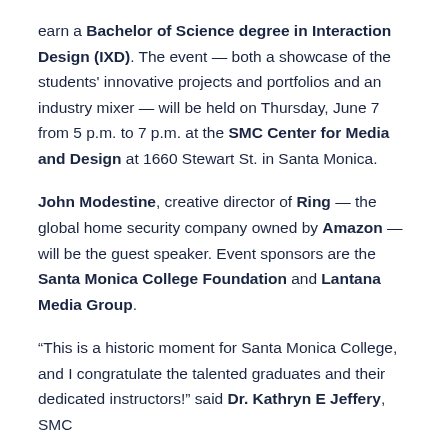earn a Bachelor of Science degree in Interaction Design (IXD). The event — both a showcase of the students' innovative projects and portfolios and an industry mixer — will be held on Thursday, June 7 from 5 p.m. to 7 p.m. at the SMC Center for Media and Design at 1660 Stewart St. in Santa Monica.
John Modestine, creative director of Ring — the global home security company owned by Amazon — will be the guest speaker. Event sponsors are the Santa Monica College Foundation and Lantana Media Group.
“This is a historic moment for Santa Monica College, and I congratulate the talented graduates and their dedicated instructors!” said Dr. Kathryn E Jeffery, SMC